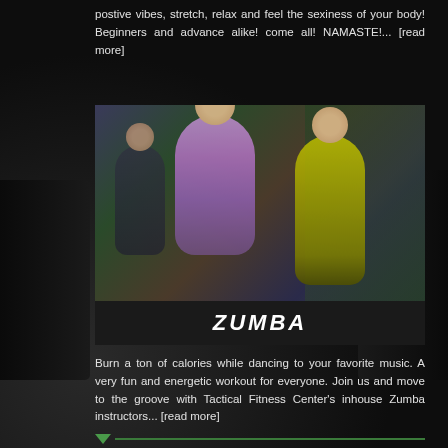postive vibes, stretch, relax and feel the sexiness of your body! Beginners and advance alike! come all! NAMASTE!... [read more]
[Figure (photo): Group of people doing Zumba dance class in a gym with graffiti mural in the background. Text 'ZUMBA' displayed below the photo.]
Burn a ton of calories while dancing to your favorite music. A very fun and energetic workout for everyone. Join us and move to the groove with Tactical Fitness Center's inhouse Zumba instructors... [read more]